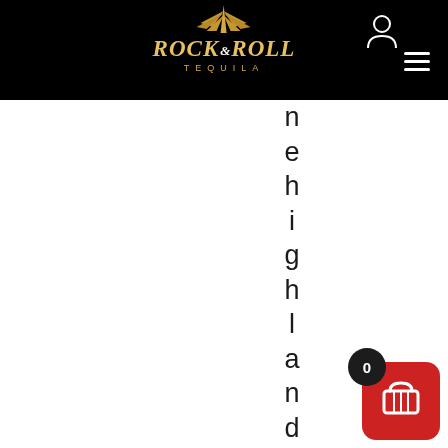Rock N Roll Tequila - Navigation Header
[Figure (logo): Rock N Roll Tequila brand logo with golden agave spike on top, stylized italic text 'ROCK N ROLL' in gold and white, with 'TEQUILA' in gold spaced letters below, on black background]
n e h i g h l a n d s o f J a
[Figure (other): Shopping cart icon button with red rounded square background and black badge showing 0 count]